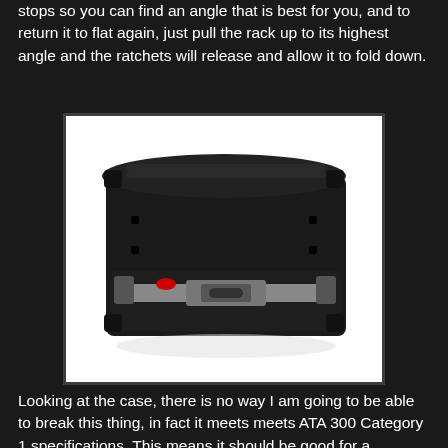stops so you can find an angle that is best for you, and to return it to flat again, just pull the rack up to its highest angle and the ratchets will release and allow it to fold down.
[Figure (photo): A black ATA-rated hard plastic rack case with metal latches and handle, viewed from a three-quarter angle showing the top and front. The case is rugged with reinforced corners and a silver metal latch/handle on the front.]
Looking at the case, there is no way I am going to be able to break this thing, in fact it meets meets ATA 300 Category 1 specifications. This means it should be good for a minimum of 100 common carrier trips. And after using the case a few